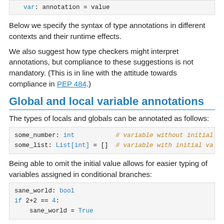var: annotation = value
Below we specify the syntax of type annotations in different contexts and their runtime effects.
We also suggest how type checkers might interpret annotations, but compliance to these suggestions is not mandatory. (This is in line with the attitude towards compliance in PEP 484.)
Global and local variable annotations
The types of locals and globals can be annotated as follows:
some_number: int    # variable without initial
some_list: List[int] = []  # variable with initial va
Being able to omit the initial value allows for easier typing of variables assigned in conditional branches:
sane_world: bool
if 2+2 == 4:
    sane_world = True